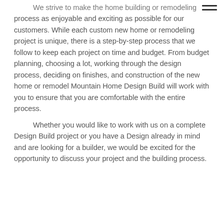[Figure (other): Hamburger menu icon (three horizontal lines) in the top-right corner]
We strive to make the home building or remodeling process as enjoyable and exciting as possible for our customers. While each custom new home or remodeling project is unique, there is a step-by-step process that we follow to keep each project on time and budget. From budget planning, choosing a lot, working through the design process, deciding on finishes, and construction of the new home or remodel Mountain Home Design Build will work with you to ensure that you are comfortable with the entire process. Whether you would like to work with us on a complete Design Build project or you have a Design already in mind and are looking for a builder, we would be excited for the opportunity to discuss your project and the building process.